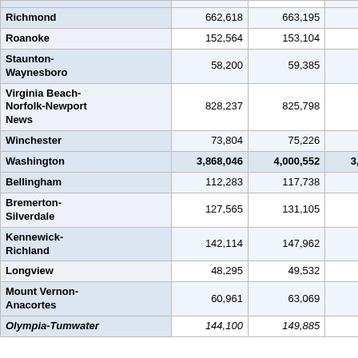| Area | Col1 | Col2 | Col3 | Col4 |
| --- | --- | --- | --- | --- |
| Richmond | 662,618 | 663,195 | 665,284 | 664,7… |
| Roanoke | 152,564 | 153,104 | 153,651 | 153,0… |
| Staunton-Waynesboro | 58,200 | 59,385 | 58,403 | 59,5… |
| Virginia Beach-Norfolk-Newport News | 828,237 | 825,798 | 833,790 | 827,2… |
| Winchester | 73,804 | 75,226 | 73,965 | 75,9… |
| Washington | 3,868,046 | 4,000,552 | 3,884,574 | 4,058,1… |
| Bellingham | 112,283 | 117,738 | 112,227 | 118,8… |
| Bremerton-Silverdale | 127,565 | 131,105 | 127,208 | 132,8… |
| Kennewick-Richland | 142,114 | 147,962 | 142,972 | 151,1… |
| Longview | 48,295 | 49,532 | 48,367 | 50,2… |
| Mount Vernon-Anacortes | 60,961 | 63,069 | 60,821 | 63,6… |
| Olympia-Tumwater | 144,100 | 149,885 | 144,487 | 150,0… |